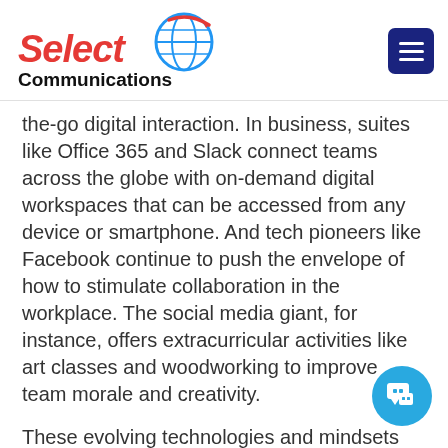Select Communications
the-go digital interaction. In business, suites like Office 365 and Slack connect teams across the globe with on-demand digital workspaces that can be accessed from any device or smartphone. And tech pioneers like Facebook continue to push the envelope of how to stimulate collaboration in the workplace. The social media giant, for instance, offers extracurricular activities like art classes and woodworking to improve team morale and creativity.
These evolving technologies and mindsets helped usher in new approaches to collaboration, but the challenge for many